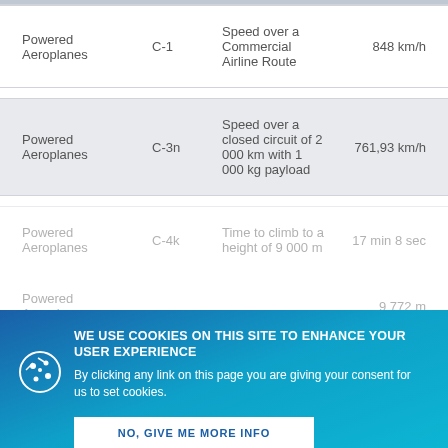| Category | Class | Record Type | Value |
| --- | --- | --- | --- |
| Powered Aeroplanes | C-1 | Speed over a Commercial Airline Route | 848 km/h |
| Powered Aeroplanes | C-3n | Speed over a closed circuit of 2 000 km with 1 000 kg payload | 761,93 km/h |
| Powered Aeroplanes | C-4k | Time to climb to a height of 9 000 m | 17 min 8 sec |
| Powered Aeroplanes |  |  | 9 772 m |
| Powered Aeroplanes | C-1c | Greatest mass carried to height | 9 225 kg |
WE USE COOKIES ON THIS SITE TO ENHANCE YOUR USER EXPERIENCE
By clicking any link on this page you are giving your consent for us to set cookies.
NO, GIVE ME MORE INFO | OK, I AGREE | DECLINE